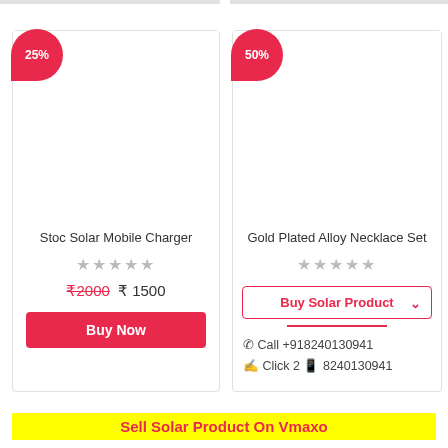[Figure (screenshot): Product card for Stoc Solar Mobile Charger with 25% discount badge, blank image area, 5-star rating, price ₹2000 crossed out and ₹1500, Buy Now button]
[Figure (screenshot): Product card for Gold Plated Alloy Necklace Set with 50% discount badge, blank image area, 5-star rating, Buy Solar Product dropdown, call and WhatsApp contact info]
Sell Solar Product On Vmaxo